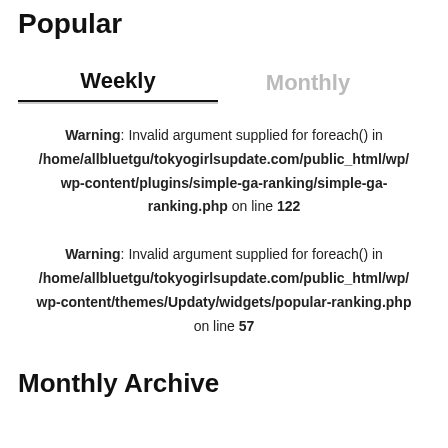Popular
Weekly    Monthly
Warning: Invalid argument supplied for foreach() in /home/allbluetgu/tokyogirlsupdate.com/public_html/wp/wp-content/plugins/simple-ga-ranking/simple-ga-ranking.php on line 122
Warning: Invalid argument supplied for foreach() in /home/allbluetgu/tokyogirlsupdate.com/public_html/wp/wp-content/themes/Updaty/widgets/popular-ranking.php on line 57
Monthly Archive